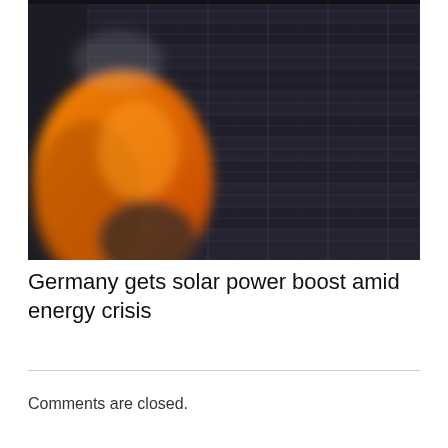[Figure (photo): A person wearing an orange high-visibility jacket stands in front of a large array of dark solar panels. The solar panels fill most of the frame, showing rows of photovoltaic cells with metallic grid lines. The person is blurred in the foreground on the left side.]
Germany gets solar power boost amid energy crisis
Comments are closed.